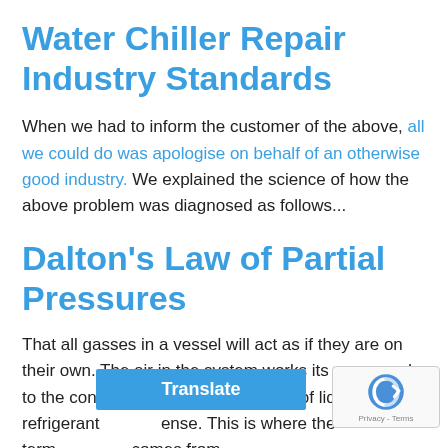Water Chiller Repair Industry Standards
When we had to inform the customer of the above, all we could do was apologise on behalf of an otherwise good industry. We explained the science of how the above problem was diagnosed as follows...
Dalton's Law of Partial Pressures
That all gasses in a vessel will act as if they are on their own. The air in the system works its way round to the condenser where it sits on top of liquid refrigerant ense. This is where the term comes from